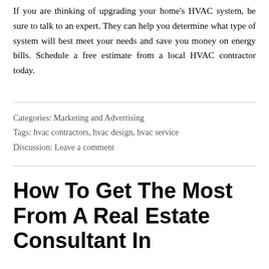If you are thinking of upgrading your home's HVAC system, be sure to talk to an expert. They can help you determine what type of system will best meet your needs and save you money on energy bills. Schedule a free estimate from a local HVAC contractor today.
Categories: Marketing and Advertising
Tags: hvac contractors, hvac design, hvac service
Discussion: Leave a comment
How To Get The Most From A Real Estate Consultant In Iowa?